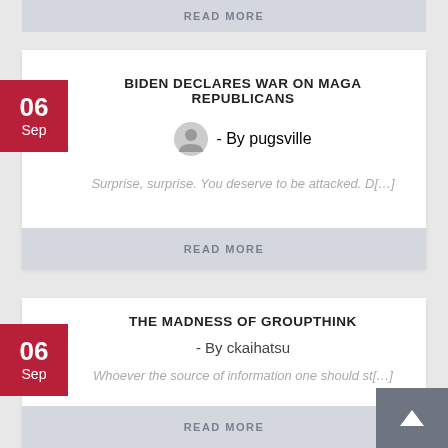READ MORE
BIDEN DECLARES WAR ON MAGA REPUBLICANS
- By pugsville
Surprise, surprise. You deserve to be attacked. D[…]
READ MORE
THE MADNESS OF GROUPTHINK
- By ckaihatsu
Whoever the source of information one should st[…]
READ MORE